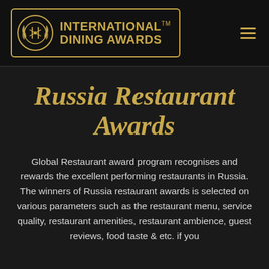[Figure (logo): International Dining Awards logo with circular emblem and gold text on dark background header bar, with hamburger menu icon on the right]
Russia Restaurant Awards
Global Restaurant award program recognises and rewards the excellent performing restaurants in Russia. The winners of Russia restaurant awards is selected on various parameters such as the restaurant menu, service quality, restaurant amenities, restaurant ambience, guest reviews, food taste & etc. if you